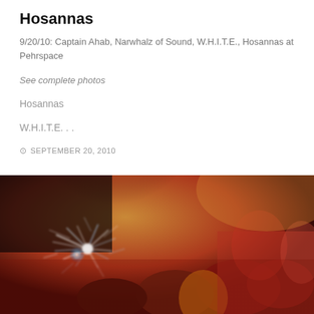Hosannas
9/20/10: Captain Ahab, Narwhalz of Sound, W.H.I.T.E., Hosannas at Pehrspace
See complete photos
Hosannas
W.H.I.T.E. . .
SEPTEMBER 20, 2010
[Figure (photo): Concert photo with crowd and dramatic light streaks/blur effects, red and orange tones, people gathered at a music venue]